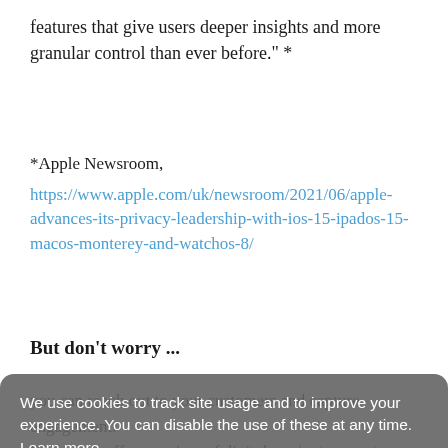features that give users deeper insights and more granular control than ever before." *
*Apple Newsroom, https://www.apple.com/uk/newsroom/2021/06/apple-advances-its-privacy-leadership-with-ios-15-ipados-15-macos-monterey-and-watchos-8/
But don't worry ...
We use cookies to track site usage and to improve your experience. You can disable the use of these at any time.  Learn more
you can reach out to your customers and capture engagement. Bluestorm offer a variety of digital marketing services (including email marketing!) which can help you market to your customers in the most effective and